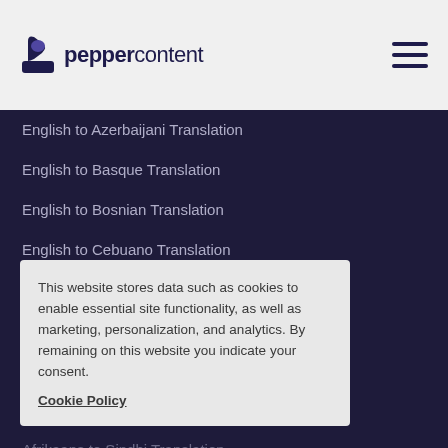peppercontent
English to Azerbaijani Translation
English to Basque Translation
English to Bosnian Translation
English to Cebuano Translation
English to Chinese Translation
English to Chinese-traditional Translation
English to Dutch Translation
English to Corsican Translation
Afrikaans to Sindhi Translation
English to Croatian Translation
English to Estonian Translation
English to Esperanto Translation
This website stores data such as cookies to enable essential site functionality, as well as marketing, personalization, and analytics. By remaining on this website you indicate your consent. Cookie Policy